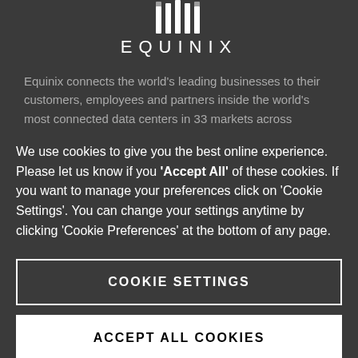[Figure (logo): Equinix logo with stylized column/bar icon above the word EQUINIX in spaced capital letters]
Equinix connects the world's leading businesses to their customers, employees and partners inside the world's most connected data centers in 33 markets across
We use cookies to give you the best online experience. Please let us know if you 'Accept All' of these cookies. If you want to manage your preferences click on 'Cookie Settings'. You can change your settings anytime by clicking 'Cookie Preferences' at the bottom of any page.
COOKIE SETTINGS
ACCEPT ALL COOKIES